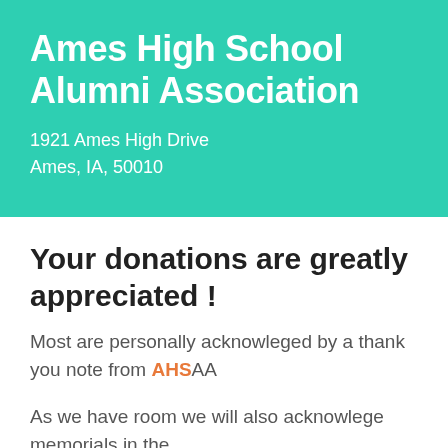Ames High School Alumni Association
1921 Ames High Drive
Ames, IA, 50010
Your donations are greatly appreciated !
Most are personally acknowleged by a thank you note from AHSAA
As we have room we will also acknowlege memorials in the